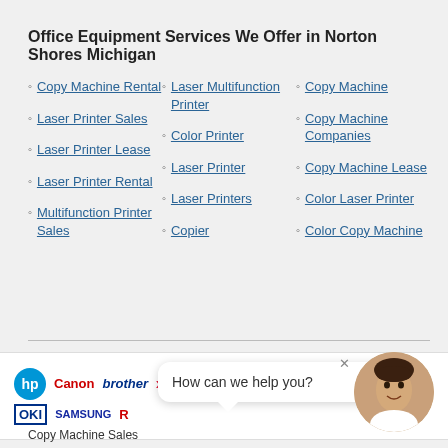Office Equipment Services We Offer in Norton Shores Michigan
Copy Machine Rental
Laser Printer Sales
Laser Printer Lease
Laser Printer Rental
Multifunction Printer Sales
Laser Multifunction Printer
Color Printer
Laser Printer
Laser Printers
Copier
Copy Machine
Copy Machine Companies
Copy Machine Lease
Color Laser Printer
Color Copy Machine
[Figure (infographic): Brand logos bar: HP, Canon, Brother, Xerox, Lexmark, Epson, and others in two rows, with a chat bubble saying 'How can we help you?' and an avatar of a woman]
Copy Machine Sales